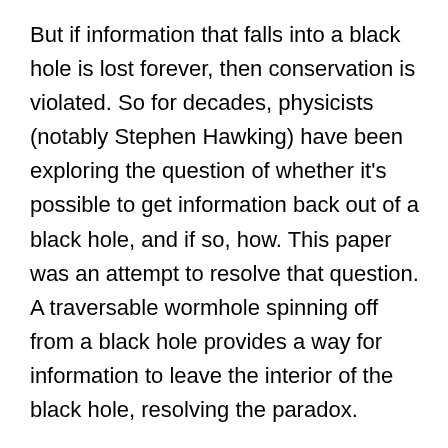But if information that falls into a black hole is lost forever, then conservation is violated. So for decades, physicists (notably Stephen Hawking) have been exploring the question of whether it's possible to get information back out of a black hole, and if so, how. This paper was an attempt to resolve that question. A traversable wormhole spinning off from a black hole provides a way for information to leave the interior of the black hole, resolving the paradox.
I only skimmed the actual paper, whose physics and math are way beyond me, but it says that this kind of entangled wormhole would only be open for a very brief time before collapsing. Still, in theory, it could be traversable at least once, which is better than previous models where the collapse was instantaneous. And if that much progress